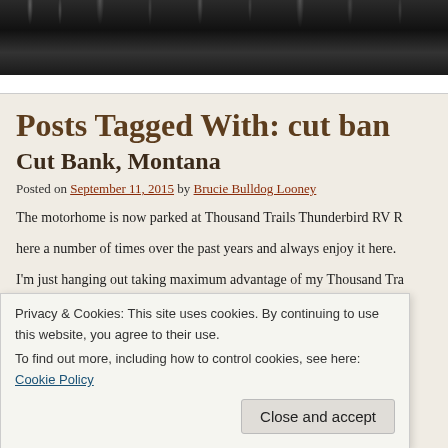[Figure (photo): Dark forest/tree canopy photo strip at top of page]
Posts Tagged With: cut ban
Cut Bank, Montana
Posted on September 11, 2015 by Brucie Bulldog Looney
The motorhome is now parked at Thousand Trails Thunderbird RV R... here a number of times over the past years and always enjoy it here.
I'm just hanging out taking maximum advantage of my Thousand Tra...
Mary's personal to-do list plate, which can only be handled by hersel...
Privacy & Cookies: This site uses cookies. By continuing to use this website, you agree to their use. To find out more, including how to control cookies, see here: Cookie Policy
Close and accept
mode. In the next few months I will be traveling through areas previo...